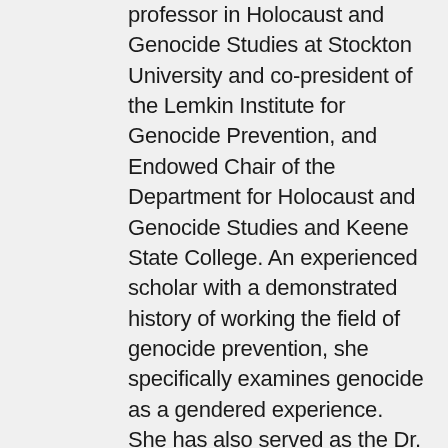professor in Holocaust and Genocide Studies at Stockton University and co-president of the Lemkin Institute for Genocide Prevention, and Endowed Chair of the Department for Holocaust and Genocide Studies and Keene State College. An experienced scholar with a demonstrated history of working the field of genocide prevention, she specifically examines genocide as a gendered experience. She has also served as the Dr. Marsha Raticoff Grossman Professor of Holocaust and Genocide Studies at Stockton University, where she started the first graduate-level academic certificate program in Genocide Prevention. She is currently completing a book on gender